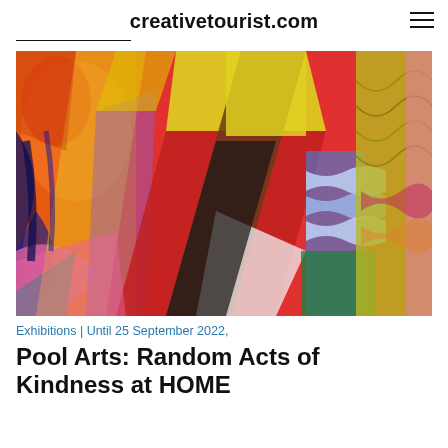creativetourist.com
[Figure (photo): Colourful abstract painting with overlapping geometric paper strips in red, orange, yellow, blue, green, purple, pink and marbled patterns]
Exhibitions | Until 25 September 2022,
Pool Arts: Random Acts of Kindness at HOME